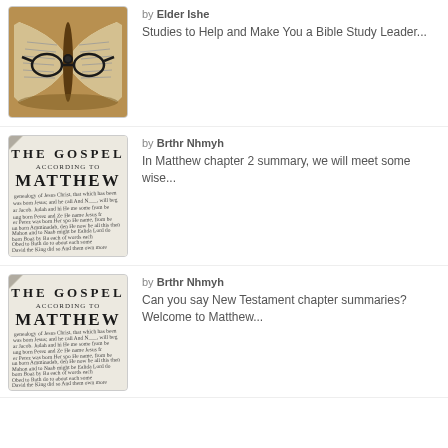[Figure (photo): Open Bible with glasses resting on it, warm golden tones]
by Elder Ishe
Studies to Help and Make You a Bible Study Leader...
[Figure (photo): The Gospel According to Matthew Bible page, close-up text]
by Brthr Nhmyh
In Matthew chapter 2 summary, we will meet some wise...
[Figure (photo): The Gospel According to Matthew Bible page, close-up text]
by Brthr Nhmyh
Can you say New Testament chapter summaries? Welcome to Matthew...